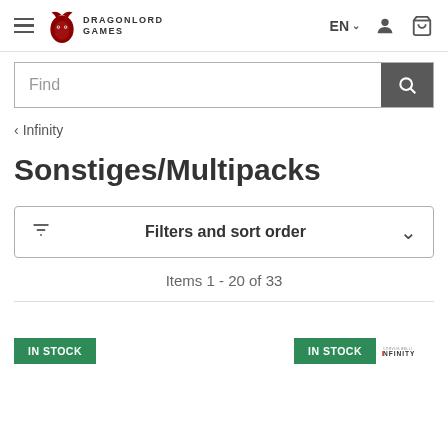Dragonlord Games — EN — navigation bar with hamburger menu, logo, language selector, user icon, cart icon
Find
‹ Infinity
Sonstiges/Multipacks
Filters and sort order
Items 1 - 20 of 33
IN STOCK
IN STOCK
[Figure (logo): Infinity game logo bottom right]